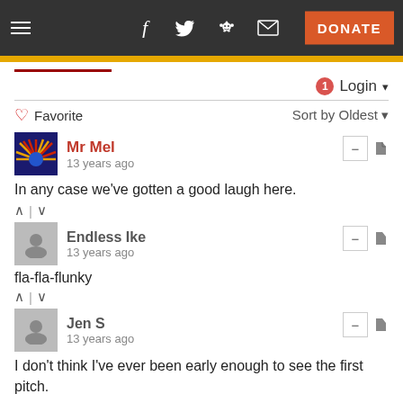Navigation bar with hamburger menu, social icons (Facebook, Twitter, Reddit, Email), and DONATE button
Login
Favorite   Sort by Oldest
Mr Mel
13 years ago
In any case we've gotten a good laugh here.
Endless Ike
13 years ago
fla-fla-flunky
Jen S
13 years ago
I don't think I've ever been early enough to see the first pitch.